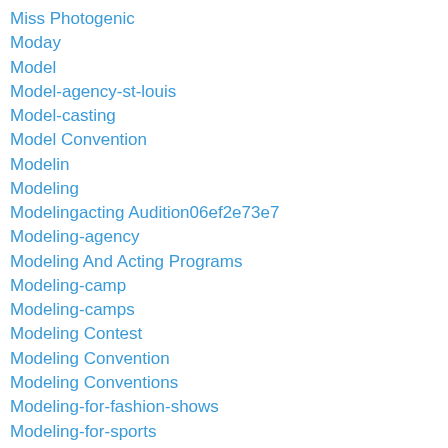Miss Photogenic
Moday
Model
Model-agency-st-louis
Model-casting
Model Convention
Modelin
Modeling
Modelingacting Audition06ef2e73e7
Modeling-agency
Modeling And Acting Programs
Modeling-camp
Modeling-camps
Modeling Contest
Modeling Convention
Modeling Conventions
Modeling-for-fashion-shows
Modeling-for-sports
Modeling-for-teens
Modeling-industry
Modeling-dc-february-13-3965384